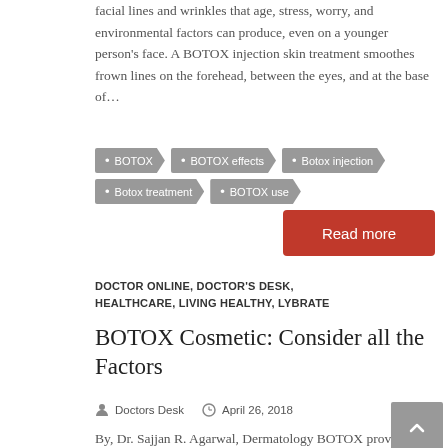facial lines and wrinkles that age, stress, worry, and environmental factors can produce, even on a younger person's face. A BOTOX injection skin treatment smoothes frown lines on the forehead, between the eyes, and at the base of…
• BOTOX
• BOTOX effects
• Botox injection
• Botox treatment
• BOTOX use
Read more
DOCTOR ONLINE, DOCTOR'S DESK, HEALTHCARE, LIVING HEALTHY, LYBRATE
BOTOX Cosmetic: Consider all the Factors
Doctors Desk   April 26, 2018
By, Dr. Sajjan R. Agarwal, Dermatology BOTOX provides a quick and effective remedy for the